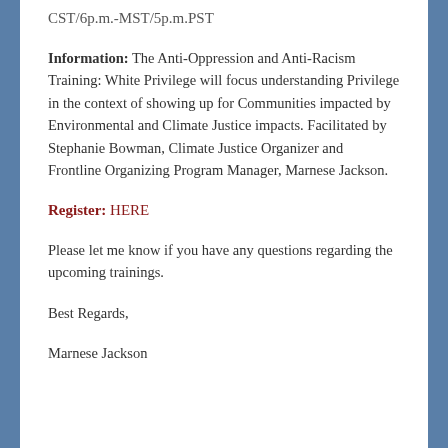CST/6p.m.-MST/5p.m.PST
Information: The Anti-Oppression and Anti-Racism Training: White Privilege will focus understanding Privilege in the context of showing up for Communities impacted by Environmental and Climate Justice impacts. Facilitated by Stephanie Bowman, Climate Justice Organizer and Frontline Organizing Program Manager, Marnese Jackson.
Register: HERE
Please let me know if you have any questions regarding the upcoming trainings.
Best Regards,
Marnese Jackson